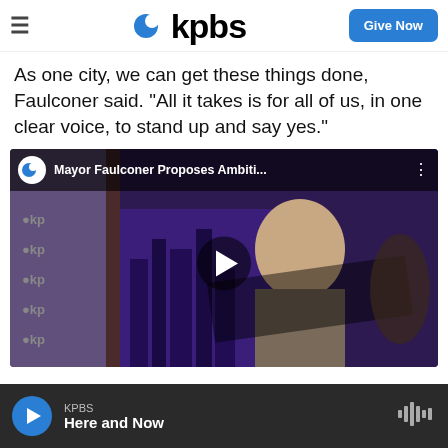kpbs | Give Now
As one city, we can get these things done, Faulconer said. "All it takes is for all of us, in one clear voice, to stand up and say yes."
[Figure (screenshot): KPBS video thumbnail showing a man in glasses and a plaid shirt in a TV studio with purple background. Video title overlay reads: 'Mayor Faulconer Proposes Ambiti...' with KPBS logo. Play button in center.]
KPBS Here and Now